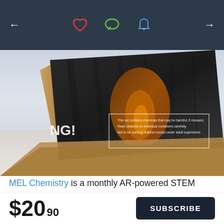[Figure (screenshot): App UI screenshot showing top navigation bar with back arrow, heart icon, chat bubble icon, bell icon, and forward arrow on a dark blue-grey background]
[Figure (photo): Photo of a MEL Chemistry subscription box partially open, showing dramatic science imagery with fire/burning wood and a warning label reading: This set contains chemicals that may be harmful if misused. Read cautions on individual containers carefully. Not to be used by children except under adult supervision.]
MEL Chemistry is a monthly AR-powered STEM subscription box from MEL Science intended for kids ages 9-14. You can subscribe to the box for $34.90 each month. Each monthly kit contains 2-3 science
$20 90
SUBSCRIBE